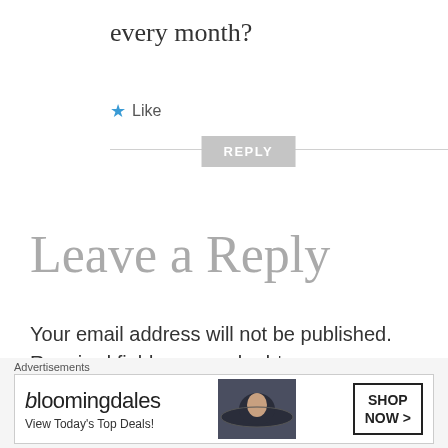every month?
★ Like
REPLY
Leave a Reply
Your email address will not be published. Required fields are marked *
COMMENT *
[Figure (screenshot): Bloomingdale's advertisement banner: logo text 'bloomingdales', tagline 'View Today's Top Deals!', image of woman in large brim hat, 'SHOP NOW >' button]
Advertisements